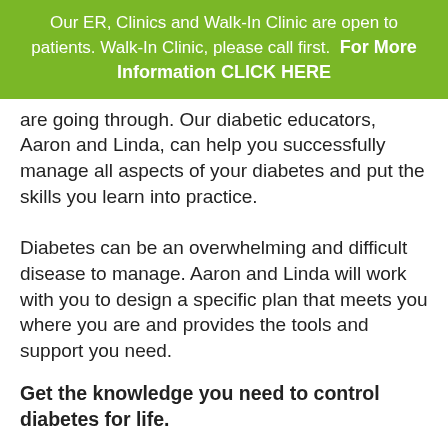Our ER, Clinics and Walk-In Clinic are open to patients. Walk-In Clinic, please call first.  For More Information CLICK HERE
are going through. Our diabetic educators, Aaron and Linda, can help you successfully manage all aspects of your diabetes and put the skills you learn into practice.
Diabetes can be an overwhelming and difficult disease to manage. Aaron and Linda will work with you to design a specific plan that meets you where you are and provides the tools and support you need.
Get the knowledge you need to control diabetes for life.
Diabetes Self-Management Education (DSME) will provide you with resources and skills to help you